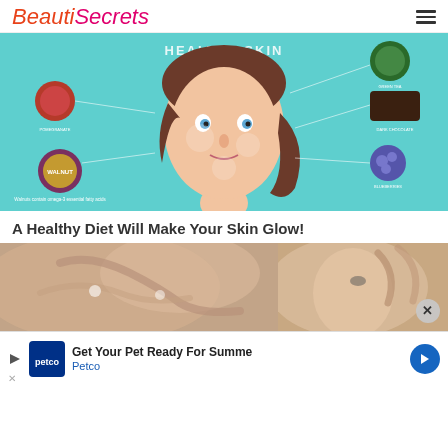BeautiSecrets
[Figure (infographic): Infographic showing a cartoon woman's face with callouts for skin-healthy foods including walnut, pomegranate, green tea, dark chocolate, and blueberries, with the heading 'HEALTHY SKIN DIET']
A Healthy Diet Will Make Your Skin Glow!
[Figure (photo): A close-up photo of a person receiving a facial treatment or massage, split into two panels side by side]
[Figure (infographic): Advertisement banner: 'Get Your Pet Ready For Summe' Petco, with Petco logo and navigation arrow]